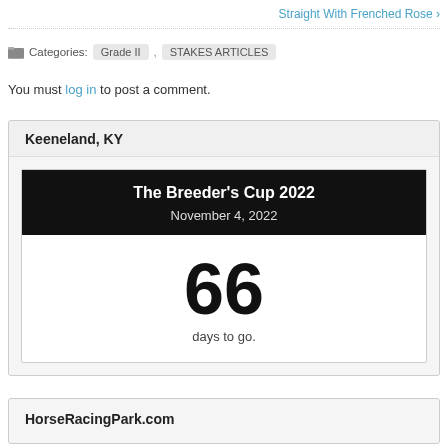Straight With Frenched Rose ›
Categories: Grade II , STAKES ARTICLES
You must log in to post a comment.
Keeneland, KY
The Breeder's Cup 2022
November 4, 2022
66
days to go.
HorseRacingPark.com